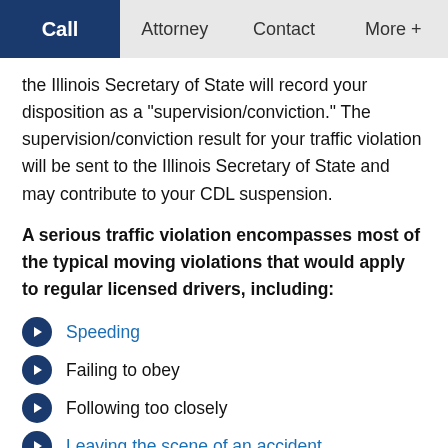Call | Attorney | Contact | More +
the Illinois Secretary of State will record your disposition as a "supervision/conviction." The supervision/conviction result for your traffic violation will be sent to the Illinois Secretary of State and may contribute to your CDL suspension.
A serious traffic violation encompasses most of the typical moving violations that would apply to regular licensed drivers, including:
Speeding
Failing to obey
Following too closely
Leaving the scene of an accident